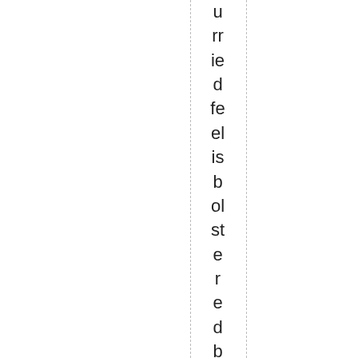u rr ie d fe el is b ol st e r e d b y th e fa ct th e r u n